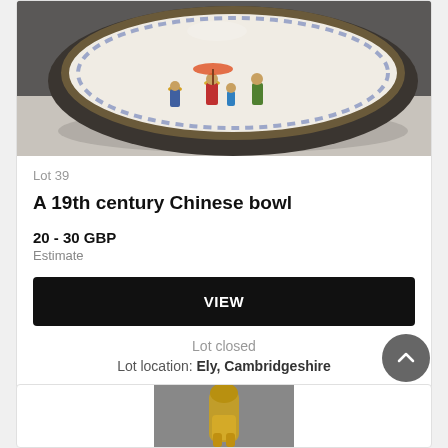[Figure (photo): Photo of a 19th century Chinese bowl viewed from above, showing decorative figures painted inside the white porcelain bowl with a dark rim]
Lot 39
A 19th century Chinese bowl
20 - 30 GBP
Estimate
VIEW
Lot closed
Lot location: Ely, Cambridgeshire
[Figure (photo): Partial photo of a golden/brass decorative figurine at the bottom of the page]